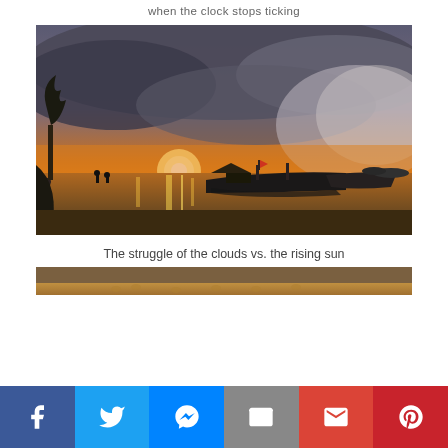when the clock stops ticking
[Figure (photo): Sunset/sunrise scene at a beach with boats moored along the shore, dramatic cloudy sky with orange glow]
The struggle of the clouds vs. the rising sun
[Figure (photo): Partial view of a sandy beach scene, cropped at bottom]
Social share bar with Facebook, Twitter, Messenger, Email, Gmail, Pinterest buttons